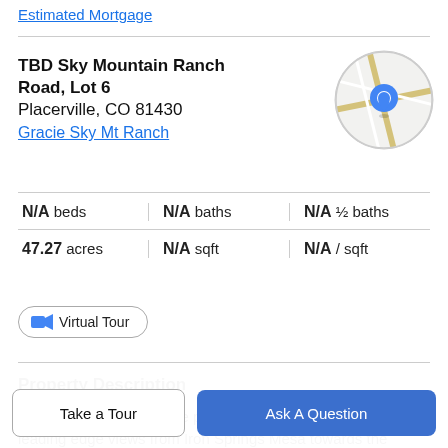Estimated Mortgage
TBD Sky Mountain Ranch Road, Lot 6
Placerville, CO 81430
Gracie Sky Mt Ranch
[Figure (map): Circular map thumbnail showing location with a blue pin marker]
N/A beds | N/A baths | N/A ½ baths | 47.27 acres | N/A sqft | N/A / sqft
Virtual Tour
Property Description
This is a beautiful 47 acre parcel that features spectacular leading edge views from Iron Springs Mesa towards the aspens with tall native grasses in between makes for a
Take a Tour
Ask A Question